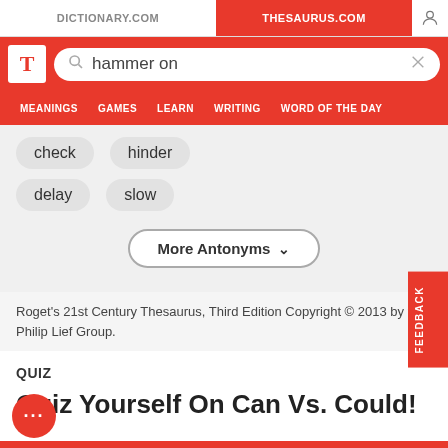DICTIONARY.COM | THESAURUS.COM
[Figure (screenshot): Thesaurus.com search bar with 'hammer on' query]
MEANINGS   GAMES   LEARN   WRITING   WORD OF THE DAY
check
hinder
delay
slow
More Antonyms
Roget's 21st Century Thesaurus, Third Edition Copyright © 2013 by the Philip Lief Group.
QUIZ
Quiz Yourself On Can Vs. Could!
START THE QUIZ
FEEDBACK